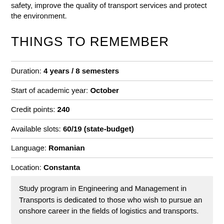safety, improve the quality of transport services and protect the environment.
THINGS TO REMEMBER
Duration: 4 years / 8 semesters
Start of academic year: October
Credit points: 240
Available slots: 60/19 (state-budget)
Language: Romanian
Location: Constanta
Tuition fee: 3400 lei/year
Study program in Engineering and Management in Transports is dedicated to those who wish to pursue an onshore career in the fields of logistics and transports.